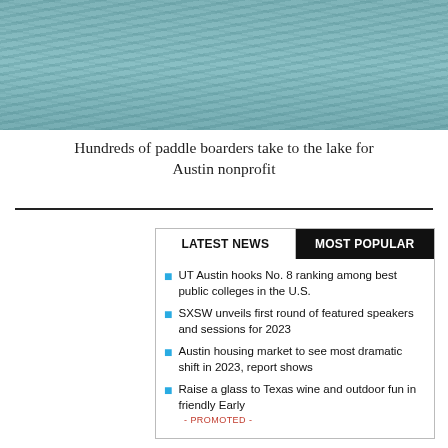[Figure (photo): Aerial/water-level photo of paddle boarders on a lake, teal-green water visible with people in the background]
Hundreds of paddle boarders take to the lake for Austin nonprofit
LATEST NEWS   MOST POPULAR
UT Austin hooks No. 8 ranking among best public colleges in the U.S.
SXSW unveils first round of featured speakers and sessions for 2023
Austin housing market to see most dramatic shift in 2023, report shows
Raise a glass to Texas wine and outdoor fun in friendly Early
- PROMOTED -